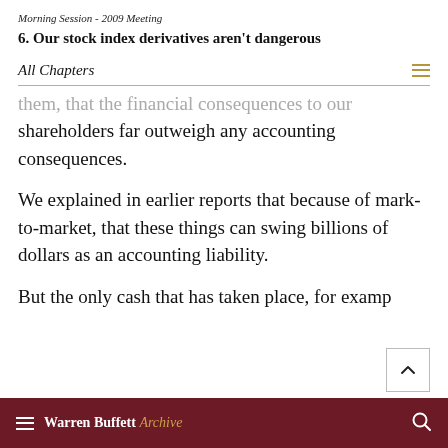Morning Session - 2009 Meeting
6. Our stock index derivatives aren't dangerous
All Chapters
them, that the financial consequences to our shareholders far outweigh any accounting consequences.
We explained in earlier reports that because of mark-to-market, that these things can swing billions of dollars as an accounting liability.
But the only cash that has taken place, for example,
Warren Buffett Archive